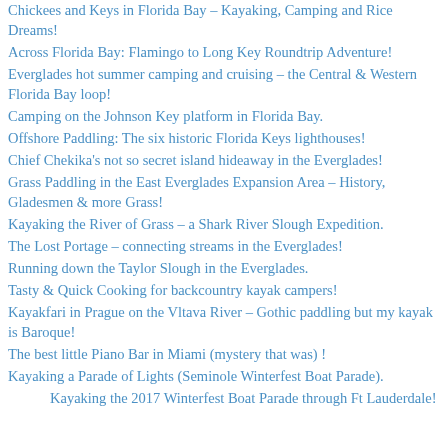Chickees and Keys in Florida Bay – Kayaking, Camping and Rice Dreams!
Across Florida Bay: Flamingo to Long Key Roundtrip Adventure!
Everglades hot summer camping and cruising – the Central & Western Florida Bay loop!
Camping on the Johnson Key platform in Florida Bay.
Offshore Paddling: The six historic Florida Keys lighthouses!
Chief Chekika's not so secret island hideaway in the Everglades!
Grass Paddling in the East Everglades Expansion Area – History, Gladesmen & more Grass!
Kayaking the River of Grass – a Shark River Slough Expedition.
The Lost Portage – connecting streams in the Everglades!
Running down the Taylor Slough in the Everglades.
Tasty & Quick Cooking for backcountry kayak campers!
Kayakfari in Prague on the Vltava River – Gothic paddling but my kayak is Baroque!
The best little Piano Bar in Miami (mystery that was) !
Kayaking a Parade of Lights (Seminole Winterfest Boat Parade).
Kayaking the 2017 Winterfest Boat Parade through Ft Lauderdale!